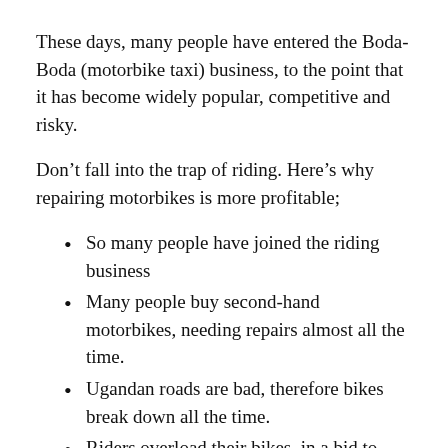These days, many people have entered the Boda-Boda (motorbike taxi) business, to the point that it has become widely popular, competitive and risky.
Don't fall into the trap of riding. Here's why repairing motorbikes is more profitable;
So many people have joined the riding business
Many people buy second-hand motorbikes, needing repairs almost all the time.
Ugandan roads are bad, therefore bikes break down all the time.
Riders overload their bikes, in a bid to multiply their earnings.
I've personally witnessed a large number of boys that have learnt from other people's workshops and later